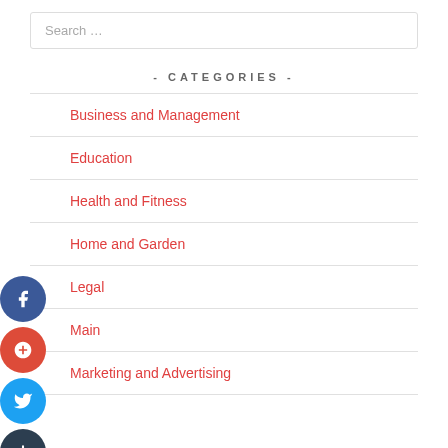Search ...
- CATEGORIES -
Business and Management
Education
Health and Fitness
Home and Garden
Legal
Main
Marketing and Advertising